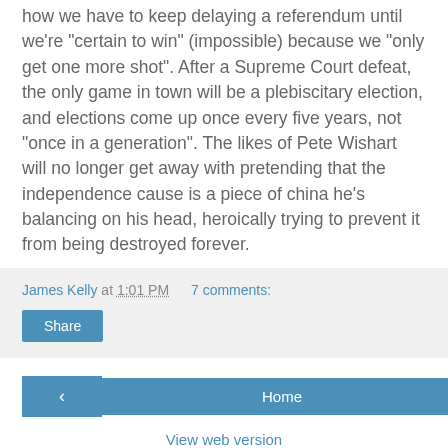how we have to keep delaying a referendum until we're "certain to win" (impossible) because we "only get one more shot". After a Supreme Court defeat, the only game in town will be a plebiscitary election, and elections come up once every five years, not "once in a generation". The likes of Pete Wishart will no longer get away with pretending that the independence cause is a piece of china he's balancing on his head, heroically trying to prevent it from being destroyed forever.
James Kelly at 1:01 PM   7 comments:
Share
‹
Home
›
View web version
Powered by Blogger.